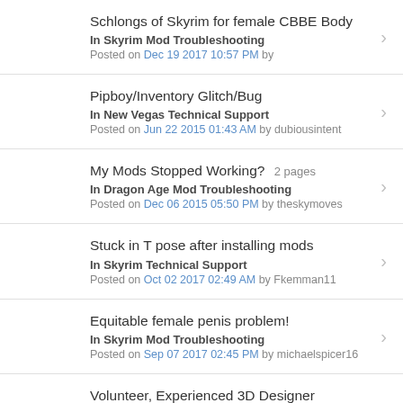Schlongs of Skyrim for female CBBE Body
In Skyrim Mod Troubleshooting
Posted on Dec 19 2017 10:57 PM by
Pipboy/Inventory Glitch/Bug
In New Vegas Technical Support
Posted on Jun 22 2015 01:43 AM by dubiousintent
My Mods Stopped Working? 2 pages
In Dragon Age Mod Troubleshooting
Posted on Dec 06 2015 05:50 PM by theskymoves
Stuck in T pose after installing mods
In Skyrim Technical Support
Posted on Oct 02 2017 02:49 AM by Fkemman11
Equitable female penis problem!
In Skyrim Mod Troubleshooting
Posted on Sep 07 2017 02:45 PM by michaelspicer16
Volunteer, Experienced 3D Designer needed...
In Skyrim Creation Kit and Modders
Posted on Aug 15 2017 10:13 AM by Nehaberlan
Schlongs of Skyrim , Pretty combat animations